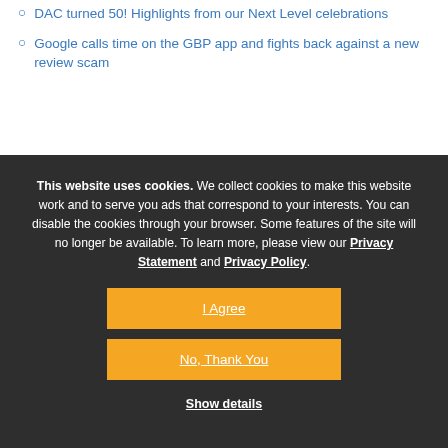DAC turned 50! Highlights from our Next Level celebrations
Google calls time on the GBP app and fights back against a new review scam
This website uses cookies. We collect cookies to make this website work and to serve you ads that correspond to your interests. You can disable the cookies through your browser. Some features of the site will no longer be available. To learn more, please view our Privacy Statement and Privacy Policy.
I Agree
No, Thank You
Show details